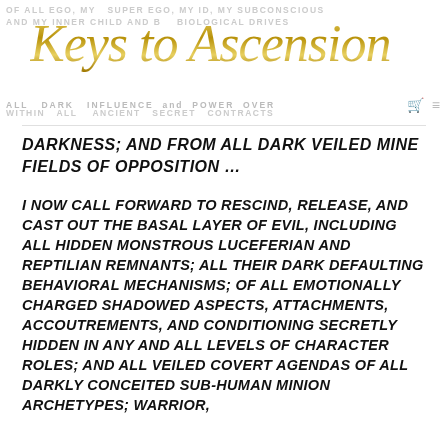Keys to Ascension
DARKNESS; AND FROM ALL DARK VEILED MINE FIELDS OF OPPOSITION…
I NOW CALL FORWARD TO RESCIND, RELEASE, AND CAST OUT THE BASAL LAYER OF EVIL, INCLUDING ALL HIDDEN MONSTROUS LUCEFERIAN AND REPTILIAN REMNANTS; ALL THEIR DARK DEFAULTING BEHAVIORAL MECHANISMS; OF ALL EMOTIONALLY CHARGED SHADOWED ASPECTS, ATTACHMENTS, ACCOUTREMENTS, AND CONDITIONING SECRETLY HIDDEN IN ANY AND ALL LEVELS OF CHARACTER ROLES; AND ALL VEILED COVERT AGENDAS OF ALL DARKLY CONCEITED SUB-HUMAN MINION ARCHETYPES; WARRIOR,